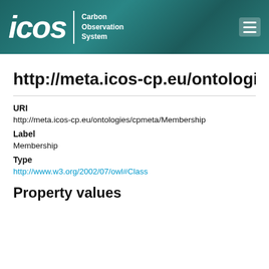[Figure (logo): ICOS Carbon Observation System header banner with teal background, ICOS logo in white italic text, divider, 'Carbon Observation System' subtitle, and hamburger menu icon]
http://meta.icos-cp.eu/ontologies/cpmeta/Member
URI
http://meta.icos-cp.eu/ontologies/cpmeta/Membership
Label
Membership
Type
http://www.w3.org/2002/07/owl#Class
Property values